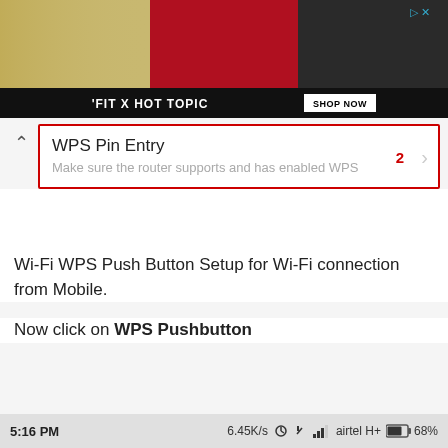[Figure (screenshot): Advertisement banner showing 'FIT X HOT TOPIC SHOP NOW' with three young people]
WPS Pin Entry
Make sure the router supports and has enabled WPS  2
Wi-Fi WPS Push Button Setup for Wi-Fi connection from Mobile.
Now click on WPS Pushbutton
5:16 PM    6.45K/s   airtel H+   68%